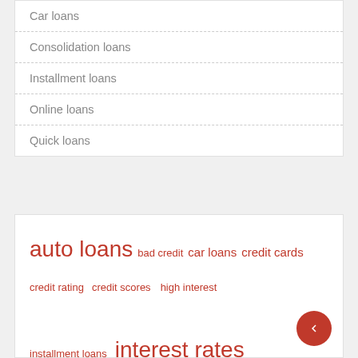Car loans
Consolidation loans
Installment loans
Online loans
Quick loans
auto loans  bad credit  car loans  credit cards  credit rating  credit scores  high interest  installment loans  interest rates  loan amount  monthly payments  payday loans